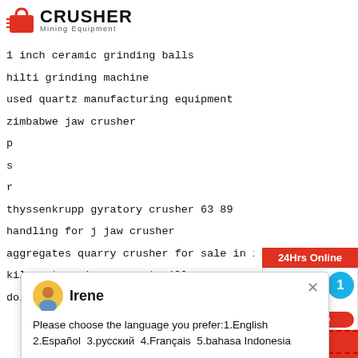[Figure (logo): Crusher Mining Equipment logo with red shopping bag icon and bold CRUSHER text]
1 inch ceramic grinding balls
hilti grinding machine
used quartz manufacturing equipment
zimbabwe jaw crusher
p...
s...
r...
thyssenkrupp gyratory crusher 63 89
handling for j jaw crusher
aggregates quarry crusher for sale in indonesia
kiln enterprises cement mill
dolomite mobile jaw crusher for sale
[Figure (screenshot): 24Hrs Online badge, Need & suggestions chat box with blue circle showing 1, Chat Now red button, Enquiry section, limingjlmofen@sina.com email]
[Figure (screenshot): Chat popup with Irene avatar, language selection prompt: Please choose the language you prefer:1.English 2.Español 3.русский 4.Français 5.bahasa Indonesia]